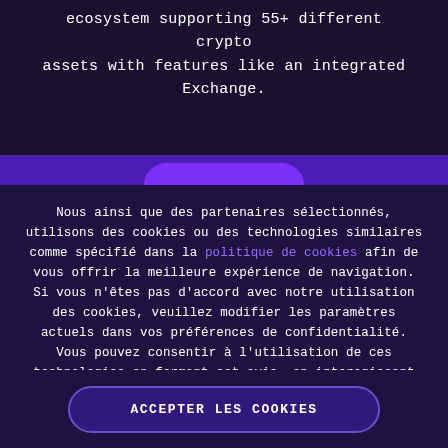ecosystem supporting 55+ different crypto assets with features like an integrated Exchange.
Nous ainsi que des partenaires sélectionnés, utilisons des cookies ou des technologies similaires comme spécifié dans la politique de cookies afin de vous offrir la meilleure expérience de navigation. Si vous n'êtes pas d'accord avec notre utilisation des cookies, veuillez modifier les paramètres actuels dans vos préférences de confidentialité. Vous pouvez consentir à l'utilisation de ces technologies en fermant cet avis, en interagissant avec tout lien ou bouton en dehors de cet avis ou en continuant à naviguer sur le site.
ACCEPTER LES COOKIES